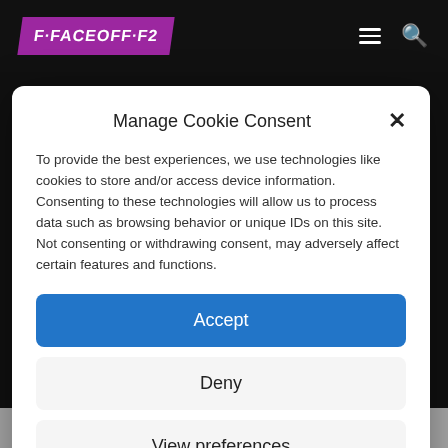F·FACEOFF·F
Manage Cookie Consent
To provide the best experiences, we use technologies like cookies to store and/or access device information. Consenting to these technologies will allow us to process data such as browsing behavior or unique IDs on this site. Not consenting or withdrawing consent, may adversely affect certain features and functions.
Accept
Deny
View preferences
Privacy Statement
The Usual Suspects